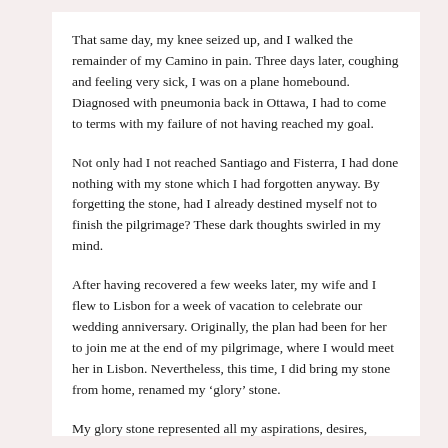That same day, my knee seized up, and I walked the remainder of my Camino in pain. Three days later, coughing and feeling very sick, I was on a plane homebound. Diagnosed with pneumonia back in Ottawa, I had to come to terms with my failure of not having reached my goal.
Not only had I not reached Santiago and Fisterra, I had done nothing with my stone which I had forgotten anyway. By forgetting the stone, had I already destined myself not to finish the pilgrimage? These dark thoughts swirled in my mind.
After having recovered a few weeks later, my wife and I flew to Lisbon for a week of vacation to celebrate our wedding anniversary. Originally, the plan had been for her to join me at the end of my pilgrimage, where I would meet her in Lisbon. Nevertheless, this time, I did bring my stone from home, renamed my ‘glory’ stone.
My glory stone represented all my aspirations, desires,